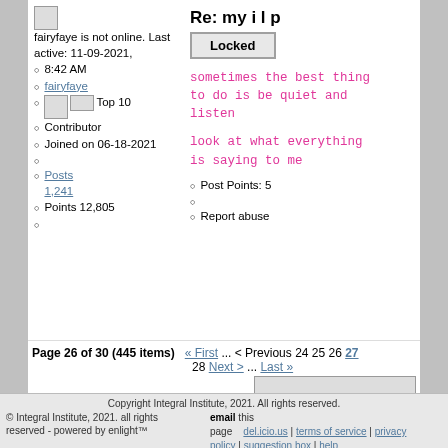fairyfaye is not online. Last active: 11-09-2021, 8:42 AM
Re: my i l p
Locked
fairyfaye
Top 10 Contributor
sometimes the best thing to do is be quiet and listen
Joined on 06-18-2021
look at what everything is saying to me
Posts 1,241
Points 12,805
Post Points: 5
Report abuse
Page 26 of 30 (445 items)  « First ... < Previous 24 25 26 27 28 Next > ... Last »
View as RSS news feed in XML
Copyright Integral Institute, 2021. All rights reserved. © Integral Institute, 2021. all rights reserved - powered by enlight™  email this page  del.icio.us | terms of service | privacy policy | suggestion box | help